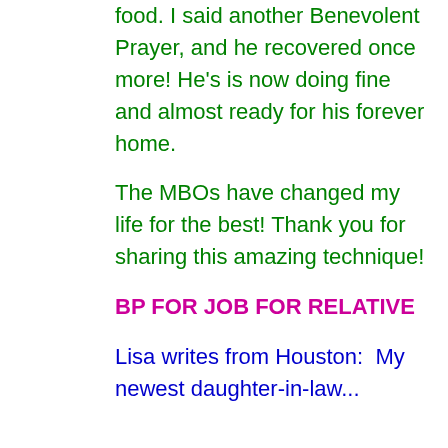food. I said another Benevolent Prayer, and he recovered once more! He's is now doing fine and almost ready for his forever home.
The MBOs have changed my life for the best! Thank you for sharing this amazing technique!
BP FOR JOB FOR RELATIVE
Lisa writes from Houston:  My newest daughter-in-law...